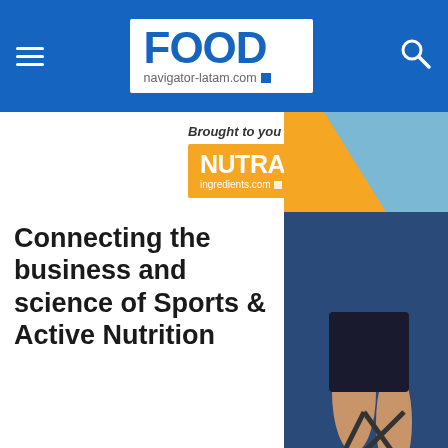FOOD navigator-latam.com
[Figure (logo): NutraIngredients.com logo with orange background and white text, with caption 'Brought to you by:']
[Figure (photo): Cyclist on a road bike, partial view showing legs and bicycle, with orange and blue diagonal stripe overlay]
Connecting the business and science of Sports & Active Nutrition
ABIA is against nutrient profiles that would impact entire
This website uses cookies. By continuing to browse our website, you are agreeing to our use of cookies. You can learn more about cookies by visiting our privacy & cookies policy page.
I Agree